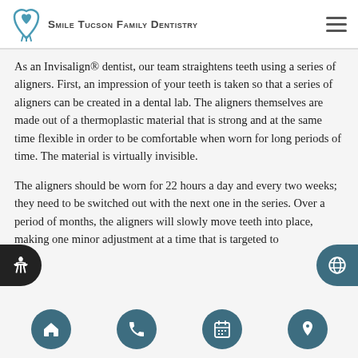Smile Tucson Family Dentistry
As an Invisalign® dentist, our team straightens teeth using a series of aligners. First, an impression of your teeth is taken so that a series of aligners can be created in a dental lab. The aligners themselves are made out of a thermoplastic material that is strong and at the same time flexible in order to be comfortable when worn for long periods of time. The material is virtually invisible.
The aligners should be worn for 22 hours a day and every two weeks; they need to be switched out with the next one in the series. Over a period of months, the aligners will slowly move teeth into place, making one minor adjustment at a time that is targeted to